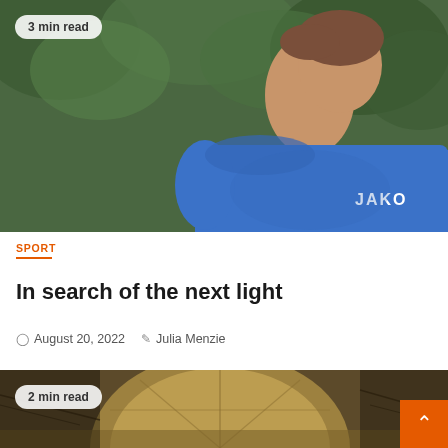[Figure (photo): Man in blue JAKO t-shirt outdoors with green foliage in background, mouth open, looking to the right. Badge overlay reads '3 min read'.]
SPORT
In search of the next light
August 20, 2022   Julia Menzie
[Figure (photo): Close-up photo of a large tortoise shell outdoors in a dusty environment with debris and wires visible. Badge overlay reads '2 min read'.]